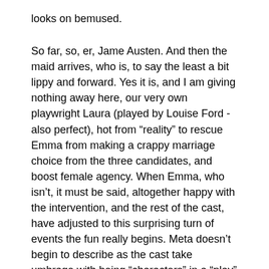looks on bemused.
So far, so, er, Jame Austen. And then the maid arrives, who is, to say the least a bit lippy and forward. Yes it is, and I am giving nothing away here, our very own playwright Laura (played by Louise Ford -also perfect), hot from “reality” to rescue Emma from making a crappy marriage choice from the three candidates, and boost female agency. When Emma, who isn’t, it must be said, altogether happy with the intervention, and the rest of the cast, have adjusted to this surprising turn of events the fun really begins. Meta doesn’t begin to describe as the cast take umbrage with being “characters” in a “play” and rebel against Laura’s authorship of their “lives”.